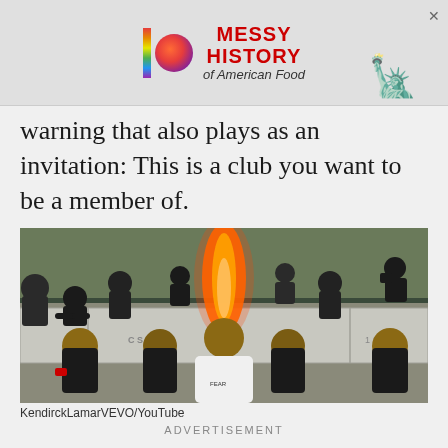[Figure (screenshot): Advertisement banner for 'Messy History of American Food' with rainbow bar, colorful circle logo, and Statue of Liberty graphic]
warning that also plays as an invitation: This is a club you want to be a member of.
[Figure (photo): Music video still showing Kendrick Lamar in white hoodie surrounded by people in black with wrapped heads, standing in front of shipping containers with fire]
KendirckLamarVEVO/YouTube
ADVERTISEMENT